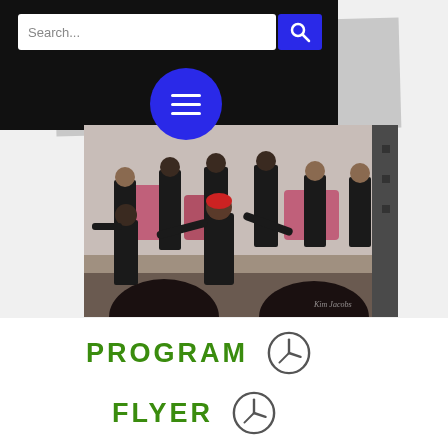[Figure (screenshot): Website UI screenshot showing a black header bar with a search box reading 'Search...' and a blue search button with magnifying glass icon, plus a blue circle hamburger menu button below]
[Figure (photo): Performance photo showing a group of performers on stage in black outfits, with a woman with red hair dancing in the foreground. Audience silhouettes visible in front. Taken in a warehouse-style venue with pink chairs in background.]
PROGRAM
FLYER